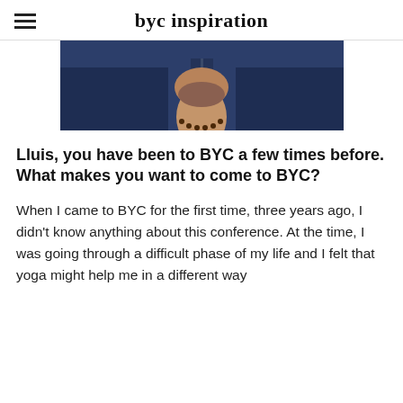byc inspiration
[Figure (photo): Partial photo of a person wearing a dark blue jacket and a dark bead necklace, showing the lower face/neck area only]
Lluis, you have been to BYC a few times before. What makes you want to come to BYC?
When I came to BYC for the first time, three years ago, I didn't know anything about this conference. At the time, I was going through a difficult phase of my life and I felt that yoga might help me in a different way